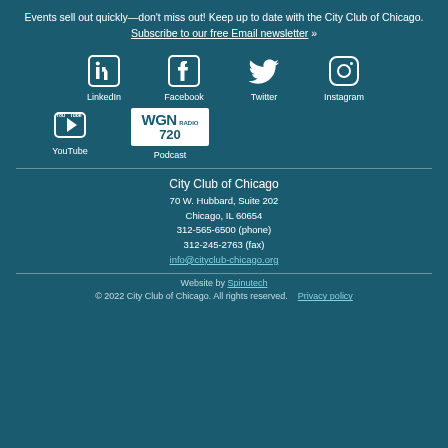Events sell out quickly—don't miss out! Keep up to date with the City Club of Chicago. Subscribe to our free Email newsletter »
[Figure (infographic): Social media icons row: LinkedIn, Facebook, Twitter, Instagram]
[Figure (infographic): Social media icons row 2: YouTube, WGN Radio 720 Podcast]
City Club of Chicago
70 W. Hubbard, Suite 202
Chicago, IL 60654
312-565-6500 (phone)
312-245-2763 (fax)
info@cityclub-chicago.org
Website by Spinutech
© 2022 City Club of Chicago. All rights reserved.    Privacy policy